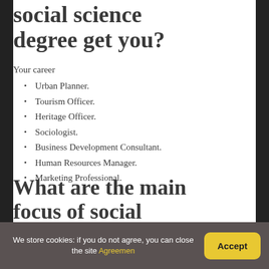social science degree get you?
Your career
Urban Planner.
Tourism Officer.
Heritage Officer.
Sociologist.
Business Development Consultant.
Human Resources Manager.
Marketing Professional.
What are the main focus of social science?
We store cookies: if you do not agree, you can close the site Agreemen